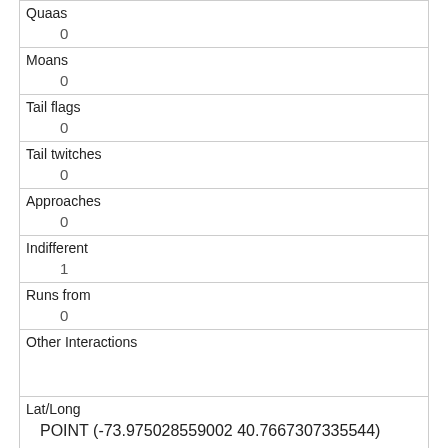| Quaas | 0 |
| Moans | 0 |
| Tail flags | 0 |
| Tail twitches | 0 |
| Approaches | 0 |
| Indifferent | 1 |
| Runs from | 0 |
| Other Interactions |  |
| Lat/Long | POINT (-73.975028559002 40.7667307335544) |
| Link | 2171 |